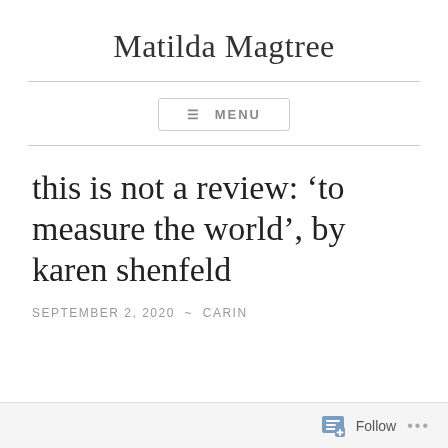Matilda Magtree
≡ MENU
this is not a review: ‘to measure the world’, by karen shenfeld
SEPTEMBER 2, 2020  ~  CARIN
Follow  ...